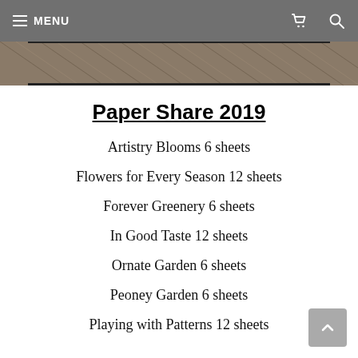≡ MENU
[Figure (photo): Wooden planks texture in diagonal pattern, partially visible at top of page]
Paper Share 2019
Artistry Blooms 6 sheets
Flowers for Every Season 12 sheets
Forever Greenery 6 sheets
In Good Taste 12 sheets
Ornate Garden 6 sheets
Peoney Garden 6 sheets
Playing with Patterns 12 sheets